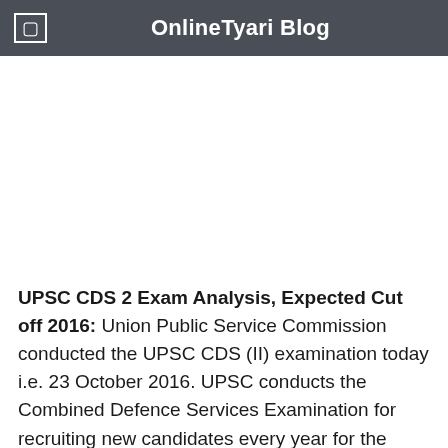OnlineTyari Blog
UPSC CDS 2 Exam Analysis, Expected Cut off 2016: Union Public Service Commission conducted the UPSC CDS (II) examination today i.e. 23 October 2016. UPSC conducts the Combined Defence Services Examination for recruiting new candidates every year for the Indian Defence Forces.
This article focuses on UPSC CDS 2 Exam Analysis, Number of Good Attempts and Expected Cut-off for the written examination. This analysis will specify the number of questions